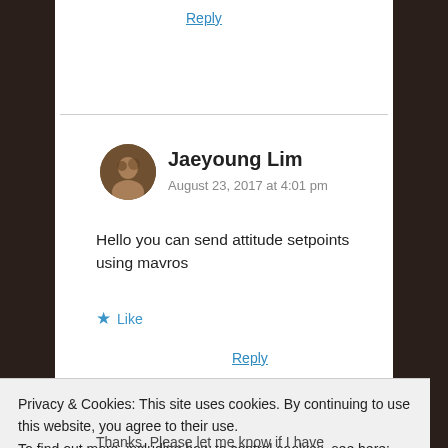Reply
Jaeyoung Lim
August 23, 2017 at 4:01 pm
Hello you can send attitude setpoints using mavros
★ Like
Reply
Privacy & Cookies: This site uses cookies. By continuing to use this website, you agree to their use.
To find out more, including how to control cookies, see here: Cookie Policy
Close and accept
Thanks. Please let me know if I have